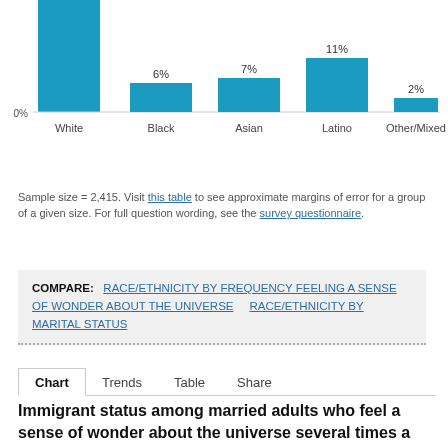[Figure (bar-chart): ]
Sample size = 2,415. Visit this table to see approximate margins of error for a group of a given size. For full question wording, see the survey questionnaire.
COMPARE:  RACE/ETHNICITY BY FREQUENCY FEELING A SENSE OF WONDER ABOUT THE UNIVERSE    RACE/ETHNICITY BY MARITAL STATUS
Chart  Trends  Table  Share
Immigrant status among married adults who feel a sense of wonder about the universe several times a year